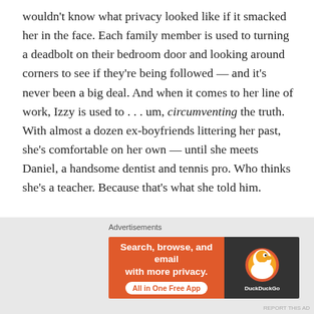wouldn't know what privacy looked like if it smacked her in the face. Each family member is used to turning a deadbolt on their bedroom door and looking around corners to see if they're being followed — and it's never been a big deal. And when it comes to her line of work, Izzy is used to . . . um, circumventing the truth. With almost a dozen ex-boyfriends littering her past, she's comfortable on her own — until she meets Daniel, a handsome dentist and tennis pro. Who thinks she's a teacher. Because that's what she told him.

As Izzy gets to know David and delves deeper into a 15-year-old cold case, her own family secrets come to light
[Figure (other): DuckDuckGo advertisement banner: 'Search, browse, and email with more privacy. All in One Free App' on orange background with DuckDuckGo logo on dark background]